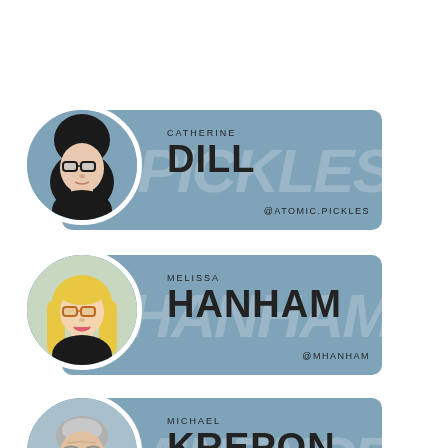[Figure (illustration): Profile card for Catherine Dill with illustrated portrait and handle @ATOMIC.PICKLES]
[Figure (illustration): Profile card for Melissa Hanham with illustrated portrait and handle @MHANHAM]
[Figure (illustration): Profile card for Michael Krepon with illustrated portrait and subtitle ÉMINENCE GRISE]